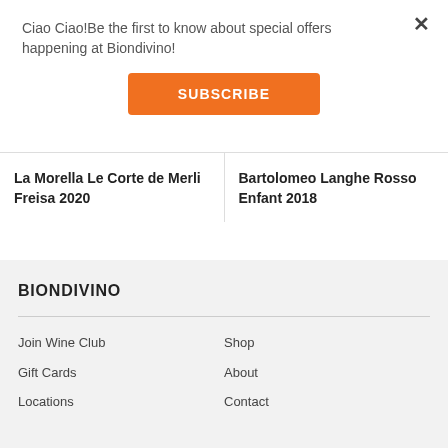Ciao Ciao!Be the first to know about special offers happening at Biondivino!
[Figure (other): Orange SUBSCRIBE button]
×
La Morella Le Corte de Merli Freisa 2020
Bartolomeo Langhe Rosso Enfant 2018
BIONDIVINO
Join Wine Club
Gift Cards
Locations
Shop
About
Contact